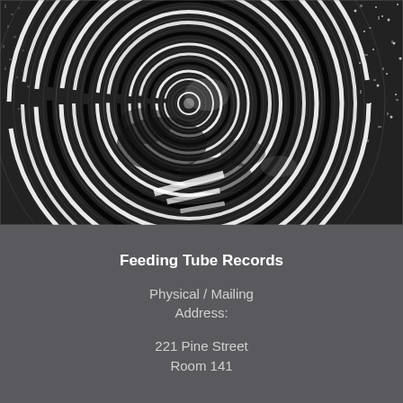[Figure (illustration): Black and white high-contrast abstract image featuring concentric swirling circles, resembling a vinyl record or spiral pattern, with stark white circular rings against a dark textured background.]
Feeding Tube Records
Physical / Mailing Address:
221 Pine Street
Room 141